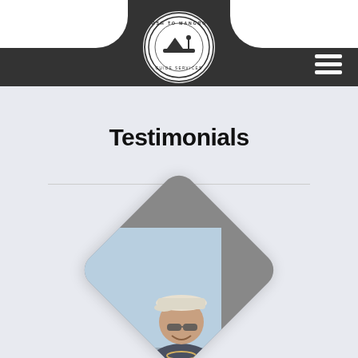[Figure (logo): Marsh to Mangrove Guide Services circular logo in white circle on dark header bar]
Testimonials
[Figure (photo): Diamond-shaped photo of a person wearing a white cap and sunglasses, holding a large fish, outdoors with blue sky background]